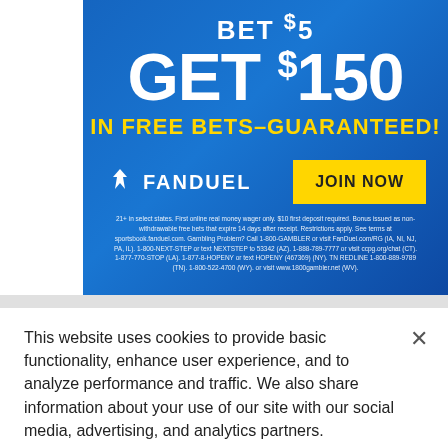[Figure (infographic): FanDuel advertisement banner: BET $5 GET $150 IN FREE BETS-GUARANTEED! with FanDuel logo and JOIN NOW button on blue background]
This website uses cookies to provide basic functionality, enhance user experience, and to analyze performance and traffic. We also share information about your use of our site with our social media, advertising, and analytics partners.
By using this website you agree to our Terms of Use.
Do Not Sell My Personal Information
Accept Cookies